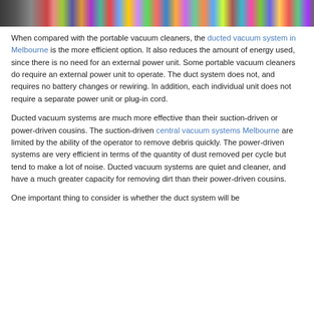[Figure (photo): Photograph of colorful confetti scattered on a dark surface]
When compared with the portable vacuum cleaners, the ducted vacuum system in Melbourne is the more efficient option. It also reduces the amount of energy used, since there is no need for an external power unit. Some portable vacuum cleaners do require an external power unit to operate. The duct system does not, and requires no battery changes or rewiring. In addition, each individual unit does not require a separate power unit or plug-in cord.
Ducted vacuum systems are much more effective than their suction-driven or power-driven cousins. The suction-driven central vacuum systems Melbourne are limited by the ability of the operator to remove debris quickly. The power-driven systems are very efficient in terms of the quantity of dust removed per cycle but tend to make a lot of noise. Ducted vacuum systems are quiet and cleaner, and have a much greater capacity for removing dirt than their power-driven cousins.
One important thing to consider is whether the duct system will be